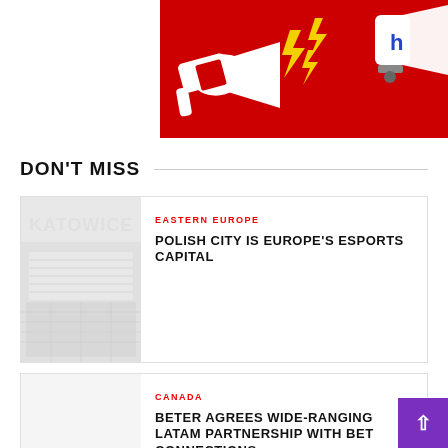[Figure (illustration): Advertising banner with red background showing a megaphone on the left with lightning bolt graphics and a partial megaphone on the right side]
DON'T MISS
[Figure (photo): Thumbnail image showing Katowice arena interior with text KATOWICE overlaid]
EASTERN EUROPE
POLISH CITY IS EUROPE'S ESPORTS CAPITAL
CANADA
BETER AGREES WIDE-RANGING LATAM PARTNERSHIP WITH BET CONNECTIONS